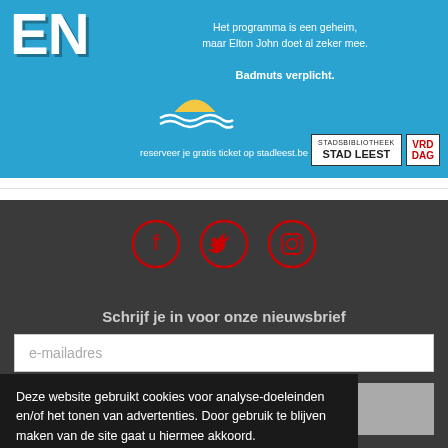[Figure (illustration): Blue promotional banner with large white text 'EN', swimming waves icon, text about a programme with Elton John, 'Badmuts verplicht.' in bold, reservation URL stadleest.be, Stad Leest logo and Vrijdag logo]
[Figure (illustration): Three social media icons (Facebook, Twitter, Instagram) in red circle outlines on dark grey background]
Schrijf je in voor onze nieuwsbrief
e-mailadres
Deze website gebruikt cookies voor analyse-doeleinden en/of het tonen van advertenties. Door gebruik te blijven maken van de site gaat u hiermee akkoord.
Akkoord